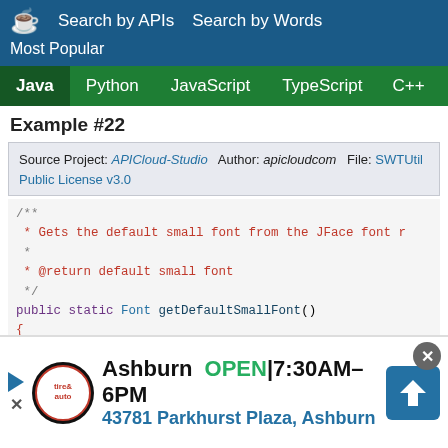Search by APIs   Search by Words   Most Popular
Java  Python  JavaScript  TypeScript  C++  Scala
Example #22
Source Project: APICloud-Studio   Author: apicloudcom   File: SWTUtil  Public License v3.0
/**
 * Gets the default small font from the JFace font r
 *
 * @return default small font
 */
public static Font getDefaultSmallFont()
{
        Font small = JFaceResources.getFontRegistry(
        if (small != null)
        {
[Figure (screenshot): Advertisement banner: Ashburn OPEN 7:30AM-6PM, 43781 Parkhurst Plaza, Ashburn, with tire & auto shop logo and navigation arrow icon]